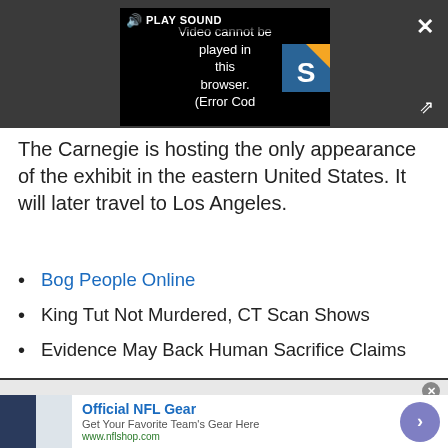[Figure (screenshot): Video player showing error message: 'Video cannot be played in this browser. (Error Cod' with PLAY SOUND button, close X button, expand button, and a logo in the top right corner.]
The Carnegie is hosting the only appearance of the exhibit in the eastern United States. It will later travel to Los Angeles.
Bog People Online
King Tut Not Murdered, CT Scan Shows
Evidence May Back Human Sacrifice Claims
[Figure (screenshot): Advertisement: Official NFL Gear - Get Your Favorite Team's Gear Here - www.nflshop.com, with NFL jersey image and arrow button.]